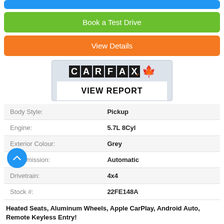[Figure (other): Blue button (partially visible at top)]
[Figure (other): Green 'Book a Test Drive' button]
[Figure (other): Orange 'View Details' button]
[Figure (logo): CARFAX Canada logo with VIEW REPORT button]
| Body Style: | Pickup |
| Engine: | 5.7L 8Cyl |
| Exterior Colour: | Grey |
| Transmission: | Automatic |
| Drivetrain: | 4x4 |
| Stock #: | 22FE148A |
Heated Seats, Aluminum Wheels, Apple CarPlay, Android Auto, Remote Keyless Entry!